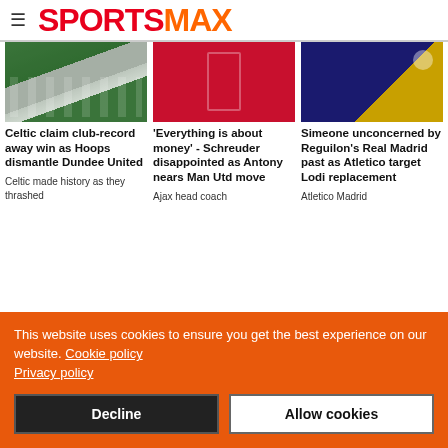SPORTSMAX
[Figure (photo): Celtic players in green and white hooped shirts celebrating]
[Figure (photo): Ajax player in red and white kit dribbling ball]
[Figure (photo): Atletico Madrid player in dark kit with getir sponsor, ball in background]
Celtic claim club-record away win as Hoops dismantle Dundee United
'Everything is about money' - Schreuder disappointed as Antony nears Man Utd move
Simeone unconcerned by Reguilon's Real Madrid past as Atletico target Lodi replacement
Celtic made history as they thrashed
Ajax head coach
Atletico Madrid
This website uses cookies to ensure you get the best experience on our website. Cookie policy Privacy policy
Decline
Allow cookies